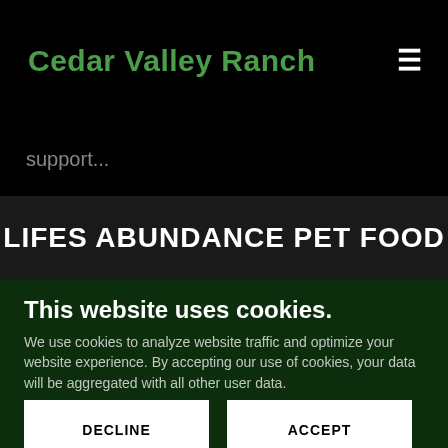Cedar Valley Ranch
support...
LIFES ABUNDANCE PET FOOD
This website uses cookies.
We use cookies to analyze website traffic and optimize your website experience. By accepting our use of cookies, your data will be aggregated with all other user data.
DECLINE
ACCEPT